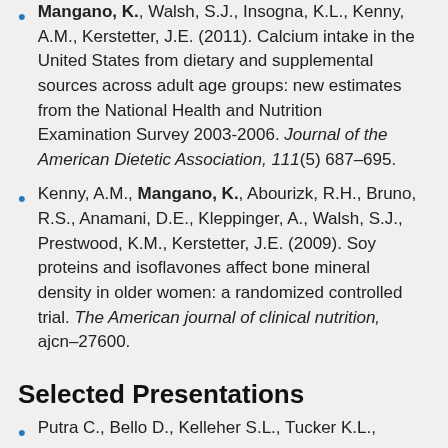Mangano, K., Walsh, S.J., Insogna, K.L., Kenny, A.M., Kerstetter, J.E. (2011). Calcium intake in the United States from dietary and supplemental sources across adult age groups: new estimates from the National Health and Nutrition Examination Survey 2003-2006. Journal of the American Dietetic Association, 111(5) 687–695.
Kenny, A.M., Mangano, K., Abourizk, R.H., Bruno, R.S., Anamani, D.E., Kleppinger, A., Walsh, S.J., Prestwood, K.M., Kerstetter, J.E. (2009). Soy proteins and isoflavones affect bone mineral density in older women: a randomized controlled trial. The American journal of clinical nutrition, ajcn–27600.
Selected Presentations
Putra C., Bello D., Kelleher S.L., Tucker K.L.,